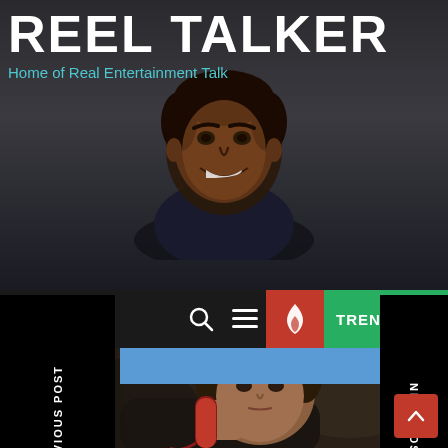REEL TALKER
Home of Real Entertainment Talk
[Figure (illustration): Cartoon/illustrated avatar of a smiling man with dark hair, depicted in a dark shadowy style, sitting as if at a microphone or desk]
PREVIOUS POST
NEXT POST
[Figure (photo): A young man holding a red telephone handset to his ear, looking intense, in a dimly lit scene]
TRENDING N